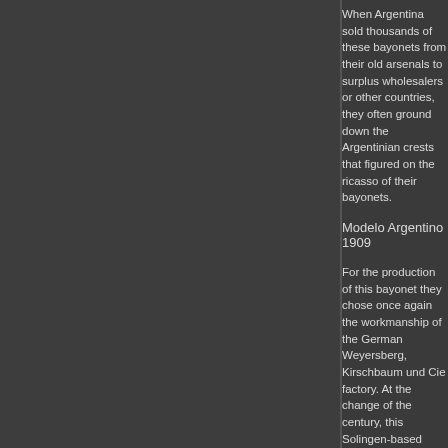When Argentina sold thousands of these bayonets from their old arsenals to surplus wholesalers or other countries, they often ground down the Argentinian crests that figured on the ricasso of their bayonets.
Modelo Argentino 1909
For the production of this bayonet they chose once again the workmanship of the German Weyersberg, Kirschbaum und Cie factory. At the change of the century, this Solingen-based company exported to lots of South-American countries and was one of the biggest manufacturers of edged weapons of the world.
The form of the blade of this Modelo 1909 bayonet is nearly identical to that of its predecessor, the Modelo Argentino 1891, but is of a slightly different size. The M1909 is a bit bigger.
For the handle the Argentinian army decided on using wood, a material that was much more common in Argentina than the aluminium or brass which was used for the Modelo Argentino 1891.
The 1909 is a well designed bayonet made of high quality materials.
At the same time, Argentina ordered a sword which was of a design similar to that of the Modelo 1909 bayonet. The